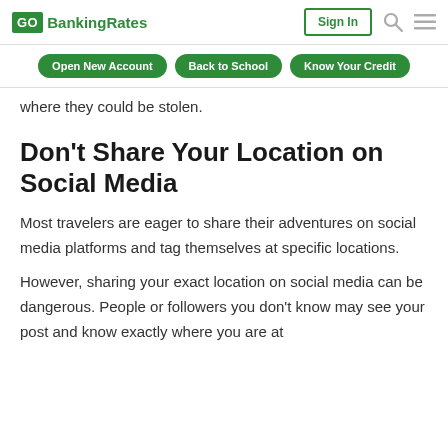GOBankingRates | Sign In
Open New Account | Back to School | Know Your Credit
where they could be stolen.
Don't Share Your Location on Social Media
Most travelers are eager to share their adventures on social media platforms and tag themselves at specific locations.
However, sharing your exact location on social media can be dangerous. People or followers you don't know may see your post and know exactly where you are at